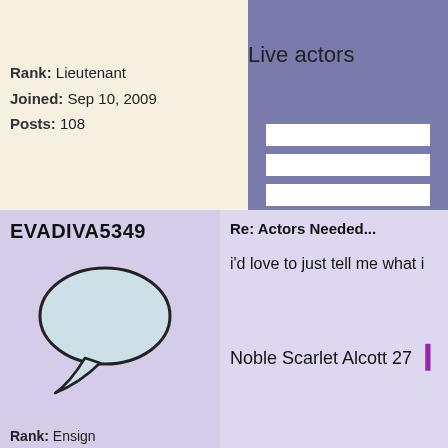Live actors
Rank: Lieutenant
Joined: Sep 10, 2009
Posts: 108
EVADIVA5349
[Figure (illustration): Speech bubble avatar icon]
Rank: Ensign
Joined: Feb 13, 2009
Posts: 21
Re: Actors Needed...
i'd love to just tell me what i
Noble Scarlet Alcott 27
JUST ADD BACON
Re: Actors Needed...
[Figure (illustration): Gear with flower avatar icon]
Richard Ashthorn on Jul 24
Requirements:
1. must have text chat
2. decision between good g
Rank: Captain